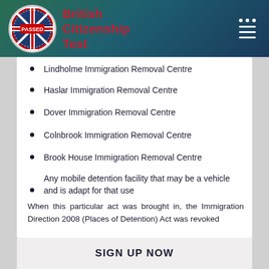British Citizenship Test
Lindholme Immigration Removal Centre
Haslar Immigration Removal Centre
Dover Immigration Removal Centre
Colnbrook Immigration Removal Centre
Brook House Immigration Removal Centre
Any mobile detention facility that may be a vehicle and is adapt for that use
When this particular act was brought in, the Immigration Direction 2008 (Places of Detention) Act was revoked
SIGN UP NOW